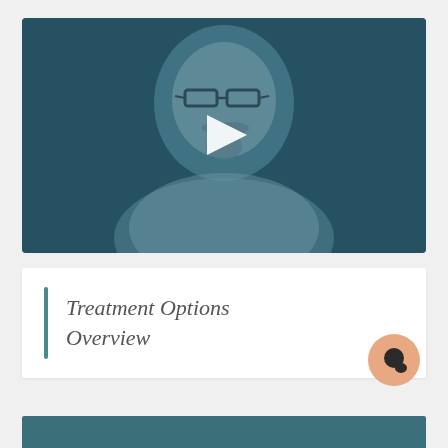[Figure (screenshot): Video thumbnail showing a bald middle-aged man with glasses and a goatee wearing a white coat, with a blue-teal overlay and a white play button triangle in the center]
Treatment Options Overview
[Figure (other): Orange circular chat/message button icon in the bottom right corner]
[Figure (other): Teal/dark blue strip at the bottom of the page, partially visible]